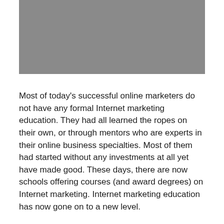[Figure (photo): Gray rectangular image placeholder at the top of the page]
Most of today's successful online marketers do not have any formal Internet marketing education. They had all learned the ropes on their own, or through mentors who are experts in their online business specialties. Most of them had started without any investments at all yet have made good. These days, there are now schools offering courses (and award degrees) on Internet marketing. Internet marketing education has now gone on to a new level.
Lately, veteran marketers are now investing on themselves and their people by sponsoring and taking these courses. The main reason, of course, is simply to invest on growth and more knowledge in anticipation of better business and, ultimately, better